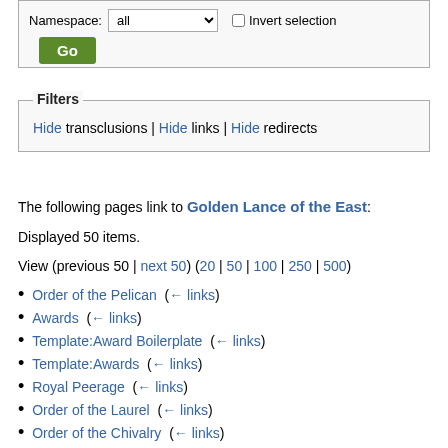Namespace: all  Invert selection  Go
Filters
Hide transclusions | Hide links | Hide redirects
The following pages link to Golden Lance of the East:
Displayed 50 items.
View (previous 50 | next 50) (20 | 50 | 100 | 250 | 500)
Order of the Pelican  (← links)
Awards  (← links)
Template:Award Boilerplate  (← links)
Template:Awards  (← links)
Royal Peerage  (← links)
Order of the Laurel  (← links)
Order of the Chivalry  (← links)